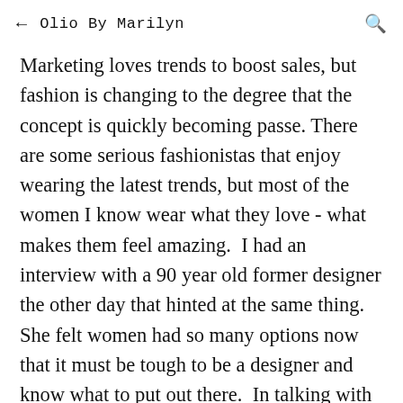← Olio By Marilyn 🔍
Marketing loves trends to boost sales, but fashion is changing to the degree that the concept is quickly becoming passe. There are some serious fashionistas that enjoy wearing the latest trends, but most of the women I know wear what they love - what makes them feel amazing.  I had an interview with a 90 year old former designer the other day that hinted at the same thing.  She felt women had so many options now that it must be tough to be a designer and know what to put out there.  In talking with many designers I think this is a serious concern.  There are few limits, and